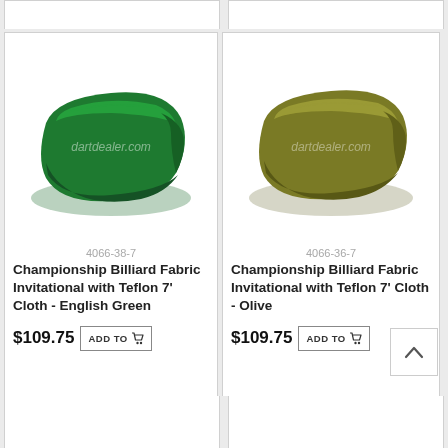[Figure (photo): Folded green billiard cloth with dartdealer.com watermark]
4066-38-7
Championship Billiard Fabric Invitational with Teflon 7' Cloth - English Green
$109.75
ADD TO cart
[Figure (photo): Folded olive/khaki billiard cloth with dartdealer.com watermark]
4066-36-7
Championship Billiard Fabric Invitational with Teflon 7' Cloth - Olive
$109.75
ADD TO cart